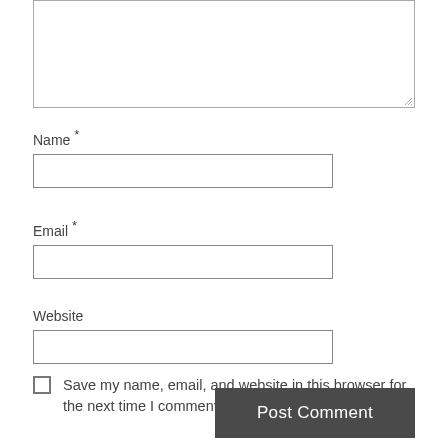[Figure (screenshot): A textarea input box (empty, resizable) at the top of the page, representing a comment input field.]
Name *
[Figure (screenshot): A text input field for Name.]
Email *
[Figure (screenshot): A text input field for Email.]
Website
[Figure (screenshot): A text input field for Website.]
Save my name, email, and website in this browser for the next time I comment.
Post Comment